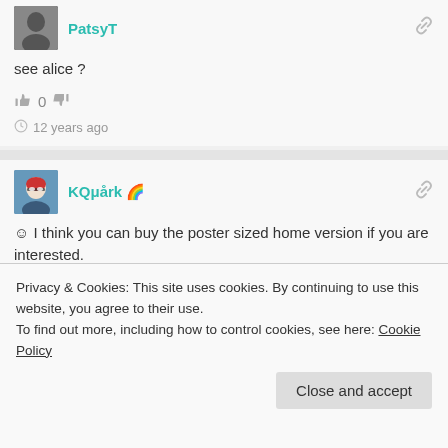[Figure (photo): Avatar photo of user PatsyT - dark silhouette image]
PatsyT
see alice ?
0
12 years ago
[Figure (photo): Avatar image of user KQμårk - cartoon-style illustration with red hair and glasses]
KQμårk 🌈
☺ I think you can buy the poster sized home version if you are interested.
0
Privacy & Cookies: This site uses cookies. By continuing to use this website, you agree to their use.
To find out more, including how to control cookies, see here: Cookie Policy
Close and accept
I'm assuming there are only 47 periods per elements because of their highest atomic ?